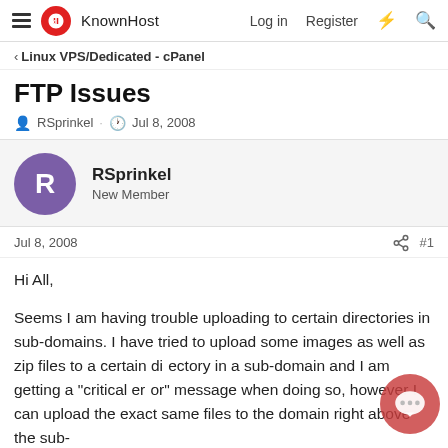KnownHost — Log in  Register
< Linux VPS/Dedicated - cPanel
FTP Issues
RSprinkel · Jul 8, 2008
RSprinkel
New Member
Jul 8, 2008
#1
Hi All,

Seems I am having trouble uploading to certain directories in sub-domains. I have tried to upload some images as well as zip files to a certain directory in a sub-domain and I am getting a "critical error" message when doing so, however I can upload the exact same files to the domain right above the sub-